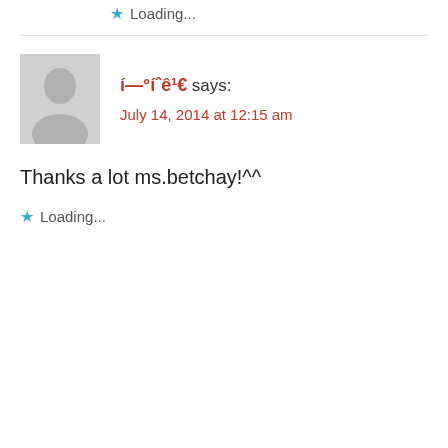Loading...
í—°íˆê¹€ says: July 14, 2014 at 12:15 am
Thanks a lot ms.betchay!^^
Loading...